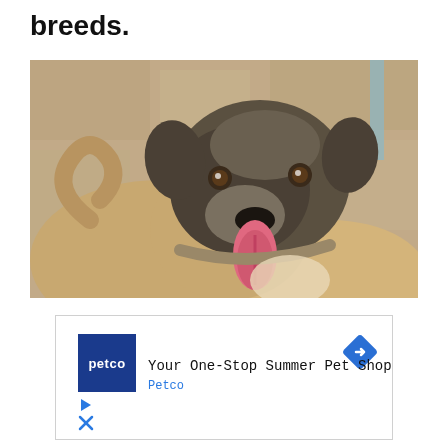breeds.
[Figure (photo): A large dog with a dark face and fawn body, tongue out, looking at the camera. Background is a stone wall.]
[Figure (other): Petco advertisement: 'Your One-Stop Summer Pet Shop' with Petco logo and navigation icons.]